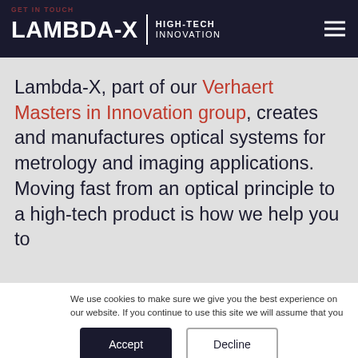GET IN TOUCH | LAMBDA-X | HIGH-TECH INNOVATION
Lambda-X, part of our Verhaert Masters in Innovation group, creates and manufactures optical systems for metrology and imaging applications. Moving fast from an optical principle to a high-tech product is how we help you to
We use cookies to make sure we give you the best experience on our website. If you continue to use this site we will assume that you are happy with that. For more information, please read our cookie policy.
Accept
Decline